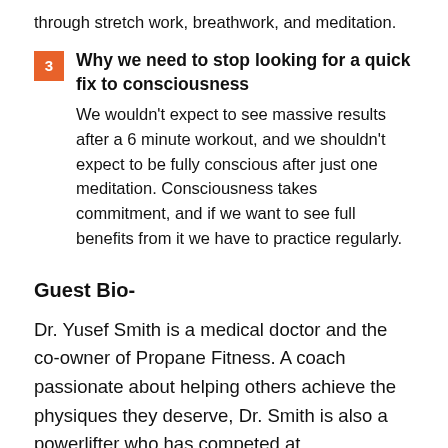reorganization and by working directly with the body through stretch work, breathwork, and meditation.
3 Why we need to stop looking for a quick fix to consciousness
We wouldn't expect to see massive results after a 6 minute workout, and we shouldn't expect to be fully conscious after just one meditation. Consciousness takes commitment, and if we want to see full benefits from it we have to practice regularly.
Guest Bio-
Dr. Yusef Smith is a medical doctor and the co-owner of Propane Fitness. A coach passionate about helping others achieve the physiques they deserve, Dr. Smith is also a powerlifter who has competed at